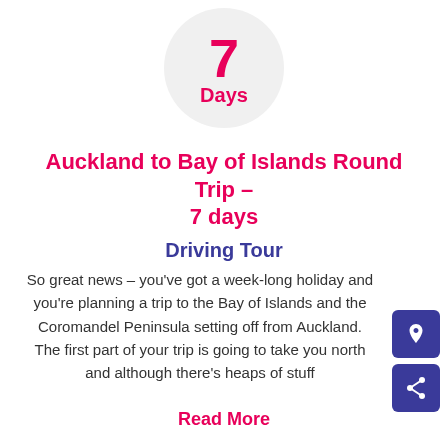[Figure (infographic): Circle badge showing '7 Days' in pink text on a light grey circle background]
Auckland to Bay of Islands Round Trip – 7 days
Driving Tour
So great news – you've got a week-long holiday and you're planning a trip to the Bay of Islands and the Coromandel Peninsula setting off from Auckland. The first part of your trip is going to take you north and although there's heaps of stuff
Read More